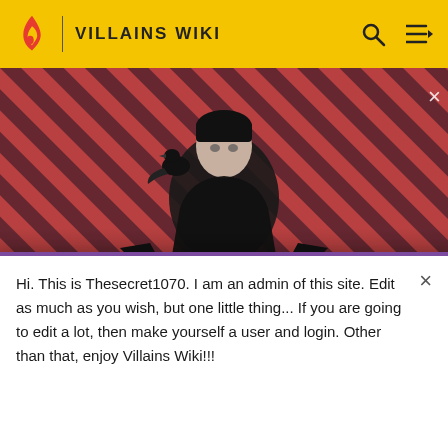VILLAINS WIKI
[Figure (photo): Video banner showing a dark-clothed figure with a raven on shoulder against a red and black diagonal stripe background. Text overlay: WATCH • 01:40 / The Sandman Will Keep You Awake - The Loop, with a play button.]
Bumperdome
Hi. This is Thesecret1070. I am an admin of this site. Edit as much as you wish, but one little thing... If you are going to edit a lot, then make yourself a user and login. Other than that, enjoy Villains Wiki!!!